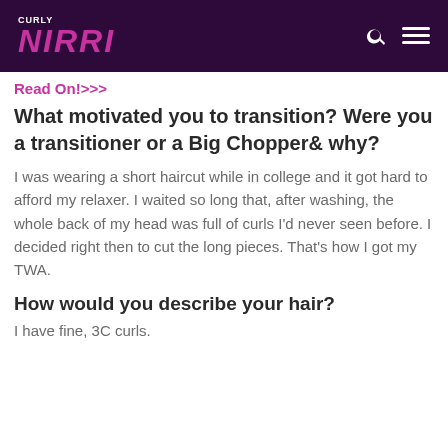CURLY NIKKI
Read On!>>>
What motivated you to transition? Were you a transitioner or a Big Chopper& why?
I was wearing a short haircut while in college and it got hard to afford my relaxer. I waited so long that, after washing, the whole back of my head was full of curls I'd never seen before. I decided right then to cut the long pieces. That's how I got my TWA.
How would you describe your hair?
I have fine, 3C curls.